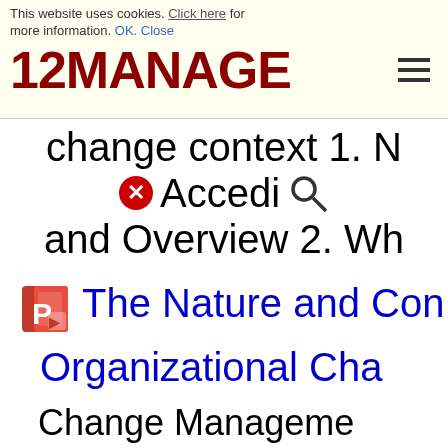This website uses cookies. Click here for more information. OK. Close
[Figure (logo): 12MANAGE logo in dark red bold text with hamburger menu icon]
change context 1. Accedi and Overview 2. Wh
The Nature and Con Organizational Cha Change Management Organizational Cha